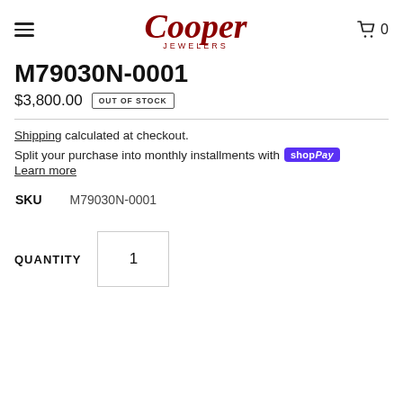Cooper Jewelers
M79030N-0001
$3,800.00  OUT OF STOCK
Shipping calculated at checkout.
Split your purchase into monthly installments with Shop Pay
Learn more
| SKU |  |
| --- | --- |
| SKU | M79030N-0001 |
QUANTITY 1